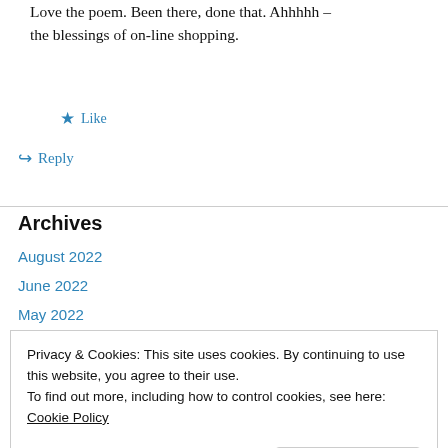Love the poem. Been there, done that. Ahhhhh – the blessings of on-line shopping.
★ Like
↪ Reply
Archives
August 2022
June 2022
May 2022
Privacy & Cookies: This site uses cookies. By continuing to use this website, you agree to their use. To find out more, including how to control cookies, see here: Cookie Policy
Close and accept